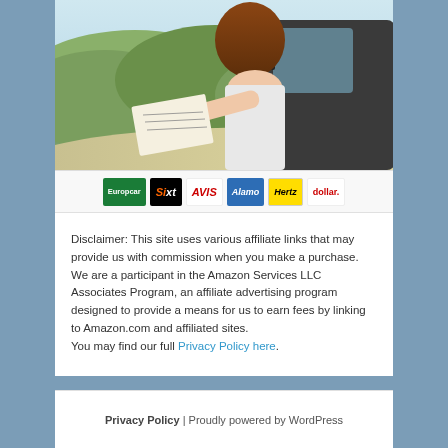[Figure (photo): Woman looking at a map out of a car window on a scenic mountain road, with rental car company logos (Europcar, Sixt, AVIS, Alamo, Hertz, dollar.) shown at the bottom of the image.]
Disclaimer: This site uses various affiliate links that may provide us with commission when you make a purchase. We are a participant in the Amazon Services LLC Associates Program, an affiliate advertising program designed to provide a means for us to earn fees by linking to Amazon.com and affiliated sites.
You may find our full Privacy Policy here.
Privacy Policy | Proudly powered by WordPress